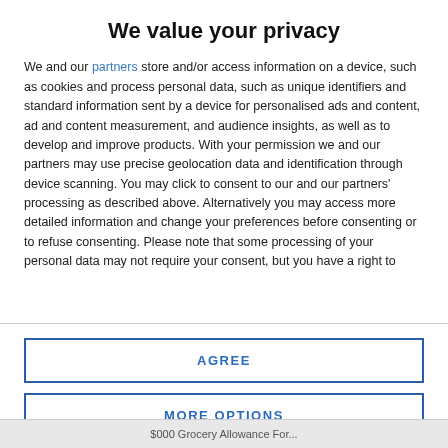We value your privacy
We and our partners store and/or access information on a device, such as cookies and process personal data, such as unique identifiers and standard information sent by a device for personalised ads and content, ad and content measurement, and audience insights, as well as to develop and improve products. With your permission we and our partners may use precise geolocation data and identification through device scanning. You may click to consent to our and our partners' processing as described above. Alternatively you may access more detailed information and change your preferences before consenting or to refuse consenting. Please note that some processing of your personal data may not require your consent, but you have a right to
AGREE
MORE OPTIONS
$000 Grocery Allowance For...